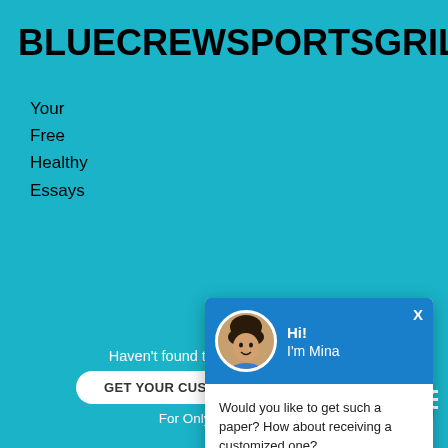BLUECREWSPORTSGRILL
Your
Free
Healthy
Essays
HOME / ARTICLES / ATTITUDE CAN MAKE A HUGE
[Figure (screenshot): Chat popup with avatar of Mina, greeting 'Hi! I'm Mina', body text 'Would you like to get such a paper? How about receiving a customized one?' and link 'Check it out']
ATTITUDE C
HUGE DIFFERENCE
Haven't found the Essay You Want?
GET YOUR CUSTOM ESSAY SAMPLE
For Only $13.90/page